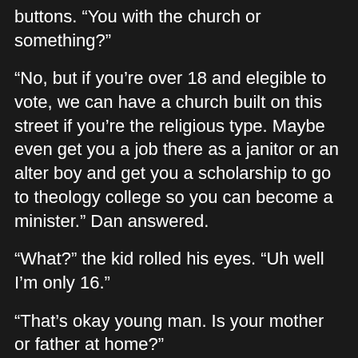buttons. “You with the church or something?”
“No, but if you’re over 18 and elegible to vote, we can have a church built on this street if you’re the religious type. Maybe even get you a job there as a janitor or an alter boy and get you a scholarship to go to theology college so you can become a minister.” Dan answered.
“What?” the kid rolled his eyes. “Uh well I’m only 16.”
“That’s okay young man. Is your mother or father at home?”
“Dad’s in prison and mom’s well, uh mom is…” he struggled to find the right words. “Mom’s kinda like a hoe.”
“You’re mom likes to hoe? That’s good son. And if